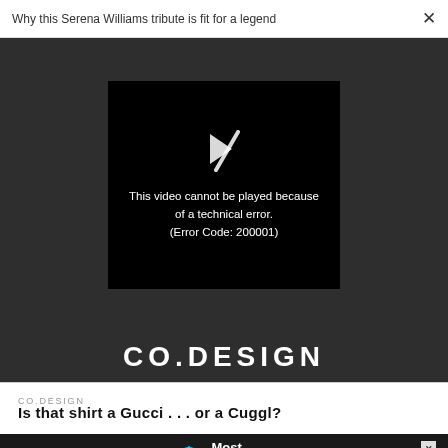Why this Serena Williams tribute is fit for a legend
[Figure (screenshot): Dark video player area showing a video error: broken play icon and message 'This video cannot be played because of a technical error. (Error Code: 200001)']
CO.DESIGN
CO.DESIGN
Is that shirt a Gucci . . . or a Cuggl?
[Figure (infographic): Advertisement banner: CALL FOR ENTRIES DEADLINE: SEPTEMBER 23 — Most Innovative Companies]